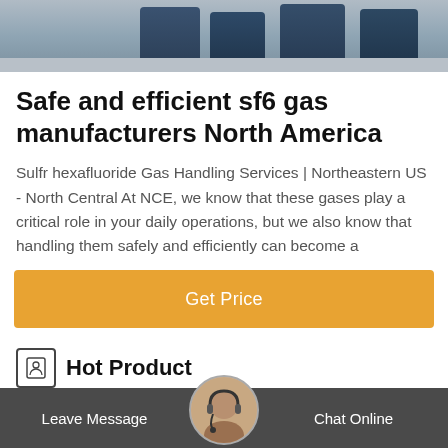[Figure (photo): Top banner image showing people in blue work clothing, likely industrial workers, viewed from mid-body down]
Safe and efficient sf6 gas manufacturers North America
Sulfr hexafluoride Gas Handling Services | Northeastern US - North Central At NCE, we know that these gases play a critical role in your daily operations, but we also know that handling them safely and efficiently can become a
[Figure (other): Get Price button — orange/amber colored call-to-action button]
Hot Product
[Figure (photo): Product image of RA912 SF6 Gas Analyzer device, dark colored handheld analyzer]
RA912 SF6 Gas Analyzer
For dete... the quality of SF6 gas.
Leave Message   Chat Online